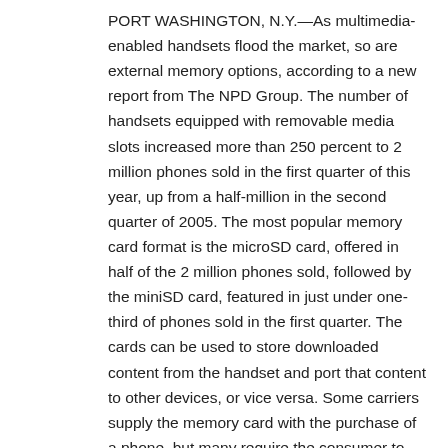PORT WASHINGTON, N.Y.—As multimedia-enabled handsets flood the market, so are external memory options, according to a new report from The NPD Group. The number of handsets equipped with removable media slots increased more than 250 percent to 2 million phones sold in the first quarter of this year, up from a half-million in the second quarter of 2005. The most popular memory card format is the microSD card, offered in half of the 2 million phones sold, followed by the miniSD card, featured in just under one-third of phones sold in the first quarter. The cards can be used to store downloaded content from the handset and port that content to other devices, or vice versa. Some carriers supply the memory card with the purchase of a phone, but many require the consumer to purchase their own separately ... Read more